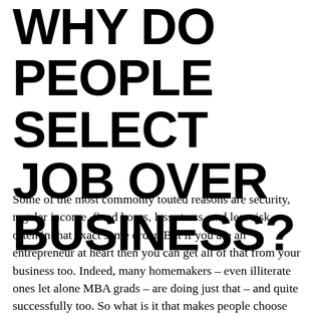WHY DO PEOPLE SELECT JOB OVER BUSINESS?
Some of the most commonly touted reasons are security, regular income, fixed hours, less stress, and less risk – often in that exact same order. But if you are an entrepreneur at heart then you can get all of that from your business too. Indeed, many homemakers – even illiterate ones let alone MBA grads – are doing just that – and quite successfully too. So what is it that makes people choose job over business?